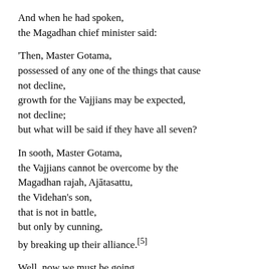And when he had spoken,
the Magadhan chief minister said:
'Then, Master Gotama,
possessed of any one of the things that cause
not decline,
growth for the Vajjians may be expected,
not decline;
but what will be said if they have all seven?
In sooth, Master Gotama,
the Vajjians cannot be overcome by the
Magadhan rajah, Ajātasattu,
the Videhan's son,
that is not in battle,
but only by cunning,
by breaking up their alliance.[5]
Well, now we must be going
for we have much to do,
much business.'
[13] 'Do as you think fit, brahman.'